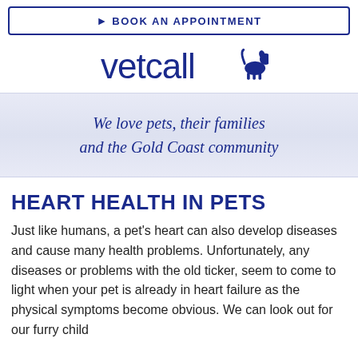BOOK AN APPOINTMENT
[Figure (logo): Vetcall logo with blue text and dog silhouette]
We love pets, their families and the Gold Coast community
HEART HEALTH IN PETS
Just like humans, a pet's heart can also develop diseases and cause many health problems. Unfortunately, any diseases or problems with the old ticker, seem to come to light when your pet is already in heart failure as the physical symptoms become obvious.  We can look out for our furry child